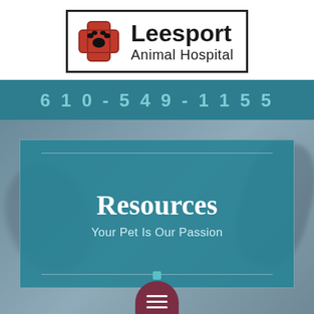[Figure (logo): Leesport Animal Hospital logo with a red cross containing a black paw print, and bold text 'Leesport Animal Hospital']
610-549-1155
[Figure (screenshot): Hero section of Leesport Animal Hospital website showing 'Resources' heading and 'Your Pet Is Our Passion' tagline on a teal background card, with a dark red hamburger menu button at the bottom center.]